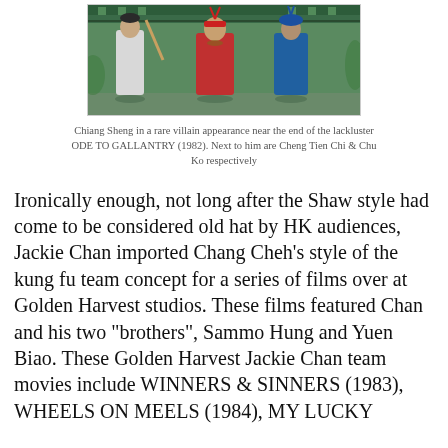[Figure (photo): A still from a kung fu film showing three actors in costume — one in white holding a weapon, one in red with a headband, and one in blue — standing in front of a green decorated backdrop.]
Chiang Sheng in a rare villain appearance near the end of the lackluster ODE TO GALLANTRY (1982). Next to him are Cheng Tien Chi & Chu Ko respectively
Ironically enough, not long after the Shaw style had come to be considered old hat by HK audiences, Jackie Chan imported Chang Cheh's style of the kung fu team concept for a series of films over at Golden Harvest studios. These films featured Chan and his two "brothers", Sammo Hung and Yuen Biao. These Golden Harvest Jackie Chan team movies include WINNERS & SINNERS (1983), WHEELS ON MEELS (1984), MY LUCKY